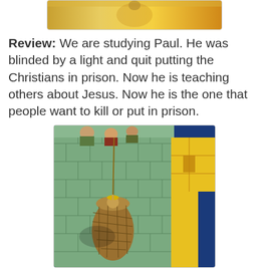[Figure (illustration): Top partial illustration of a figure, cropped at top of page, showing warm golden/yellow tones]
Review: We are studying Paul. He was blinded by a light and quit putting the Christians in prison. Now he is teaching others about Jesus. Now he is the one that people want to kill or put in prison.
[Figure (illustration): Illustration of Paul being lowered in a wicker basket over a city wall at night. Several men peer over the top of the stone wall. The wall is green-tinted stone, and there is a yellow building visible. Paul sits in a large brown wicker basket suspended by ropes.]
Last week we talked about Paul teaching in the synagogues in Damascus and the people that heard were amazed at how much he knew about Jesus. That made the Jews start to get worried that